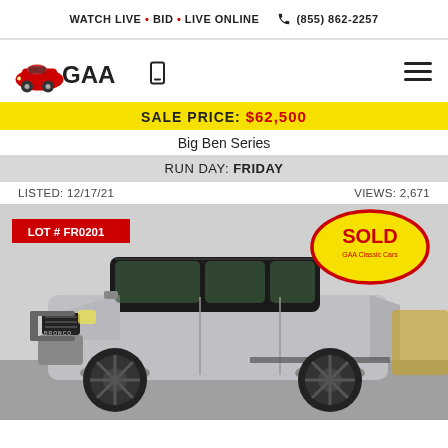WATCH LIVE • BID • LIVE ONLINE  ☎ (855) 862-2257
[Figure (logo): GAA Classic Cars logo with red vintage car and GAA text]
SALE PRICE: $62,500
Big Ben Series
RUN DAY: FRIDAY
LISTED: 12/17/21   VIEWS: 2,671
[Figure (photo): Gray Ford Bronco SUV with lifted suspension, black wheels, and bull bar. LOT # FR0201 badge in red at top left, SOLD badge in yellow with red border at top right.]